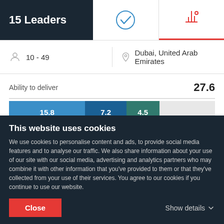15 Leaders
10 - 49
Dubai, United Arab Emirates
Ability to deliver
27.6
[Figure (stacked-bar-chart): Ability to deliver]
Reviews
This website uses cookies
We use cookies to personalise content and ads, to provide social media features and to analyse our traffic. We also share information about your use of our site with our social media, advertising and analytics partners who may combine it with other information that you've provided to them or that they've collected from your use of their services. You agree to our cookies if you continue to use our website.
Close
Show details